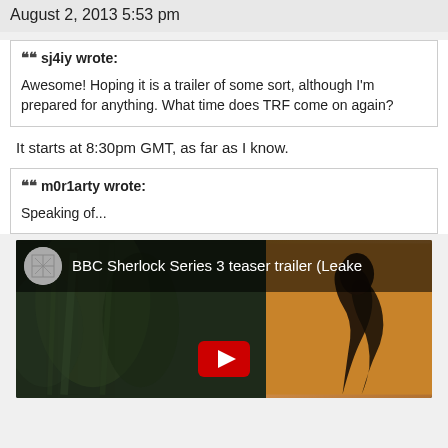August 2, 2013 5:53 pm
sj4iy wrote:
Awesome!  Hoping it is a trailer of some sort, although I'm prepared for anything.  What time does TRF come on again?
It starts at 8:30pm GMT, as far as I know.
m0r1arty wrote:
Speaking of...
[Figure (screenshot): Embedded YouTube video thumbnail showing 'BBC Sherlock Series 3 teaser trailer (Leake...' with a dark left panel showing foliage and a warm-lit right panel showing a silhouette of a curly-haired figure; YouTube play button at bottom center.]